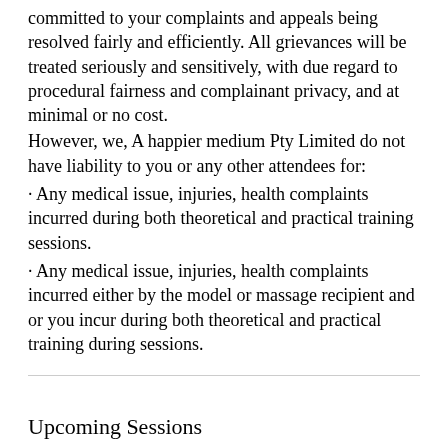committed to your complaints and appeals being resolved fairly and efficiently. All grievances will be treated seriously and sensitively, with due regard to procedural fairness and complainant privacy, and at minimal or no cost.
However, we, A happier medium Pty Limited do not have liability to you or any other attendees for:
· Any medical issue, injuries, health complaints incurred during both theoretical and practical training sessions.
· Any medical issue, injuries, health complaints incurred either by the model or massage recipient and or you incur during both theoretical and practical training during sessions.
Upcoming Sessions